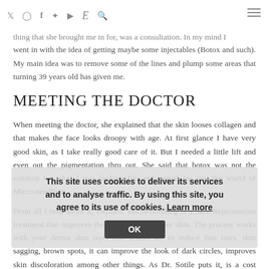y  o  f  p  ▶  E  🔍  ☰
thing that she brought me in for, was a consultation. In my mind I went in with the idea of getting maybe some injectables (Botox and such). My main idea was to remove some of the lines and plump some areas that turning 39 years old has given me.
MEETING THE DOCTOR
When meeting the doctor, she explained that the skin looses collagen and that makes the face looks droopy with age. At first glance I have very good skin, as I take really good care of it. But I needed a little lift and even out the pigmentation thru out. She said that botox was not the solution for what I was looking for, and turned me into the world of Micro-needling.
From all I read about it, Defined: Micro-needling is a Skin Rejuvenation treatment that improves the overall look of your skin. The process works with your derma skin layer and results are to reduce fine lines, skin sagging, brown spots, it can improve the look of dark circles, improves skin discoloration among other things. As Dr. Sotile puts it, is a cost effective treatment that gives you the most
This site uses cookies to deliver its services and to analyse traffic. By using this site, you agree to its use of cookies. Learn more
OK